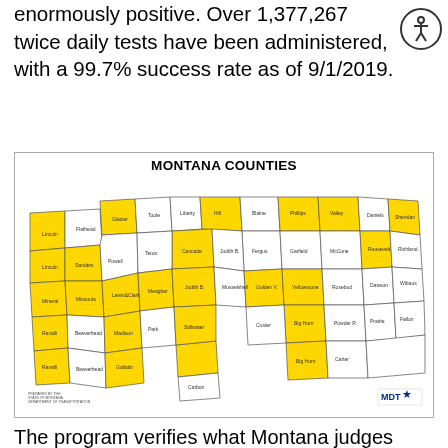enormously positive. Over 1,377,267 twice daily tests have been administered, with a 99.7% success rate as of 9/1/2019.
[Figure (map): Map of Montana Counties with some counties highlighted in yellow, titled 'MONTANA COUNTIES', with MDT logo in lower right corner.]
The program verifies what Montana judges have consistently required of DUI defendants – that they stay out of bars and places where alcohol is served and that they abstain from drinking. The 24/7 Program verifies that offenders are